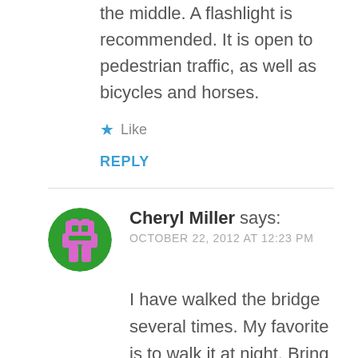the middle. A flashlight is recommended. It is open to pedestrian traffic, as well as bicycles and horses.
★ Like
REPLY
Cheryl Miller says:
OCTOBER 22, 2012 AT 12:23 PM
I have walked the bridge several times. My favorite is to walk it at night. Bring flash lights and some good company and walk the tunnel. I